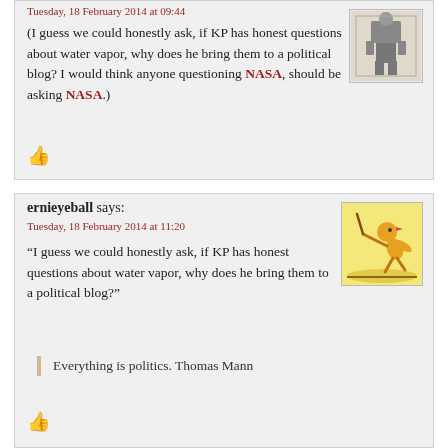Tuesday, 18 February 2014 at 09:44
(I guess we could honestly ask, if KP has honest questions about water vapor, why does he bring them to a political blog? I would think anyone questioning NASA, should be asking NASA.)
👍
ernieyeball says:
Tuesday, 18 February 2014 at 11:20
“I guess we could honestly ask, if KP has honest questions about water vapor, why does he bring them to a political blog?”
Everything is politics. Thomas Mann
👍